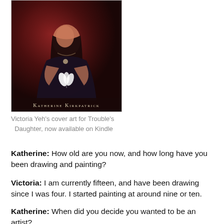[Figure (illustration): Book cover illustration showing a woman in dark clothing holding a white feather, with dark reddish-brown background. Text at bottom reads 'Katherine Kirkpatrick' in small caps.]
Victoria Yeh's cover art for Trouble's Daughter, now available on Kindle
Katherine: How old are you now, and how long have you been drawing and painting?
Victoria: I am currently fifteen, and have been drawing since I was four. I started painting at around nine or ten.
Katherine: When did you decide you wanted to be an artist?
Victoria: Ever since I started drawing I wanted to be an artist